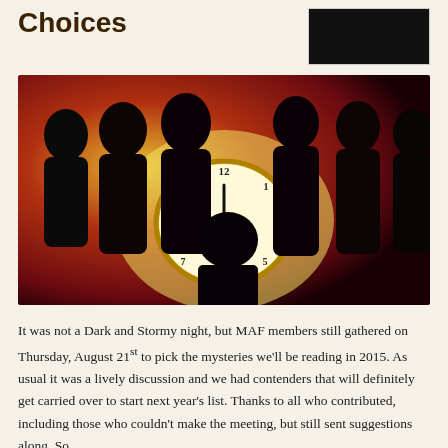Choices
[Figure (photo): Silhouettes of people gathered around a glowing large pocket clock, with warm reddish-yellow dramatic lighting]
It was not a Dark and Stormy night, but MAF members still gathered on Thursday, August 21st to pick the mysteries we'll be reading in 2015. As usual it was a lively discussion and we had contenders that will definitely get carried over to start next year's list. Thanks to all who contributed, including those who couldn't make the meeting, but still sent suggestions along. So